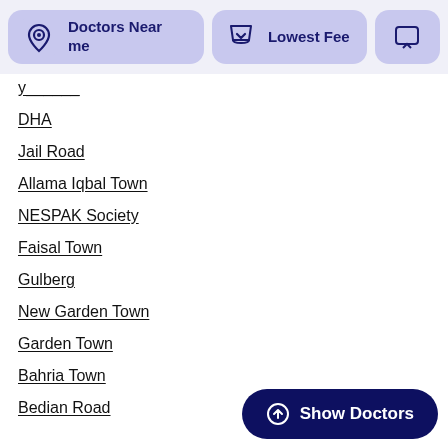[Figure (screenshot): Top navigation bar with filter buttons: 'Doctors Near me' with location pin icon, 'Lowest Fee' with shield icon, and a partially visible chat icon button — all on a light lavender/purple background]
y___
DHA
Jail Road
Allama Iqbal Town
NESPAK Society
Faisal Town
Gulberg
New Garden Town
Garden Town
Bahria Town
Bedian Road